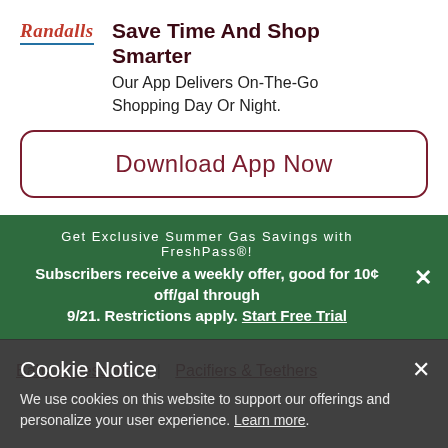Save Time And Shop Smarter
Our App Delivers On-The-Go Shopping Day Or Night.
Download App Now
Get Exclusive Summer Gas Savings with FreshPass®! Subscribers receive a weekly offer, good for 10¢ off/gal through 9/21. Restrictions apply. Start Free Trial
Baby Accessories | Pacifiers & Teethers
Cookie Notice
We use cookies on this website to support our offerings and personalize your user experience. Learn more.